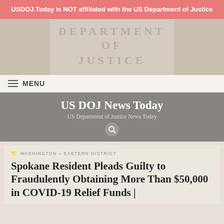USDOJ.Today is NOT affiliated with the US Department of Justice
[Figure (photo): Stone building facade engraved with 'DEPARTMENT OF JUSTICE' text]
MENU
US DOJ News Today
US Department of Justice News Today
WASHINGTON – EASTERN DISTRICT
Spokane Resident Pleads Guilty to Fraudulently Obtaining More Than $50,000 in COVID-19 Relief Funds | US DOJ News Today